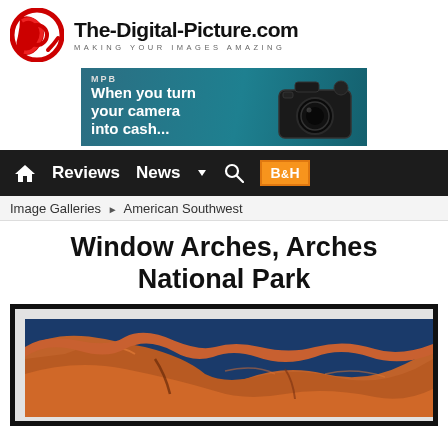[Figure (logo): The-Digital-Picture.com logo with red circular camera aperture icon and tagline 'MAKING YOUR IMAGES AMAZING']
[Figure (photo): Advertisement banner for MPB: 'When you turn your camera into cash...' with Sony camera image on teal/blue background]
[Figure (screenshot): Navigation bar with home icon, Reviews, News, dropdown arrow, search icon, and B&H logo on dark background]
Image Galleries ▶ American Southwest
Window Arches, Arches National Park
[Figure (photo): Framed photograph of red rock formations at Arches National Park against a deep blue sky, showing close-up of sandstone arch texture]